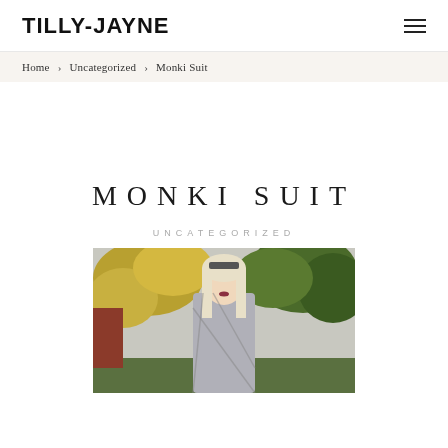TILLY-JAYNE
Home > Uncategorized > Monki Suit
MONKI SUIT
UNCATEGORIZED
[Figure (photo): Blonde woman standing outdoors in front of autumn trees, wearing sunglasses on head and a patterned jacket]